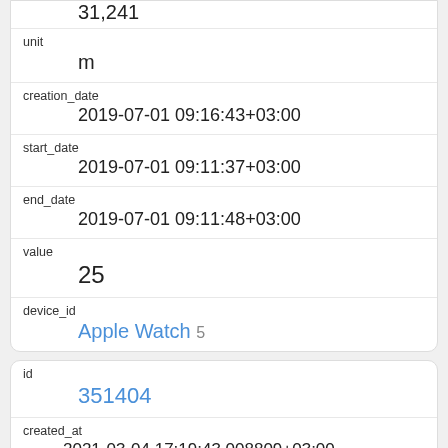| unit | m |
| creation_date | 2019-07-01 09:16:43+03:00 |
| start_date | 2019-07-01 09:11:37+03:00 |
| end_date | 2019-07-01 09:11:48+03:00 |
| value | 25 |
| device_id | Apple Watch 5 |
| id | 351404 |
| created_at | 2021-03-04 17:19:43.008809+03:00 |
| updated_at | 2021-03-04 17:19:43.008809+03:00 |
| deleted_at |  |